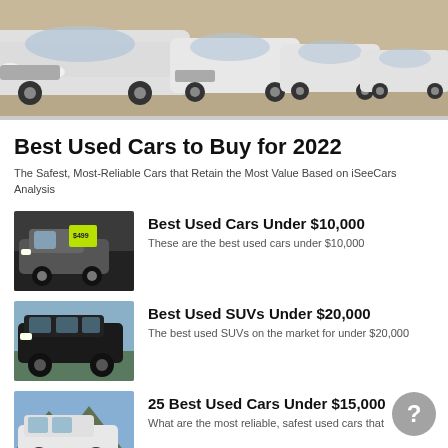[Figure (photo): Row of white cars lined up in a parking lot or car dealership lot, viewed from the front at an angle.]
Best Used Cars to Buy for 2022
The Safest, Most-Reliable Cars that Retain the Most Value Based on iSeeCars Analysis
[Figure (photo): Close-up of a used car windshield with a yellow price tag sticker.]
Best Used Cars Under $10,000
These are the best used cars under $10,000
[Figure (photo): Black SUV parked outdoors, viewed from the front-side angle.]
Best Used SUVs Under $20,000
The best used SUVs on the market for under $20,000
[Figure (photo): White SUV parked in front of a mountain landscape.]
25 Best Used Cars Under $15,000
What are the most reliable, safest used cars that